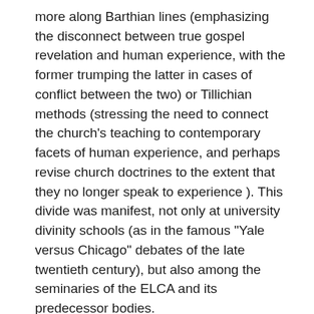more along Barthian lines (emphasizing the disconnect between true gospel revelation and human experience, with the former trumping the latter in cases of conflict between the two) or Tillichian methods (stressing the need to connect the church's teaching to contemporary facets of human experience, and perhaps revise church doctrines to the extent that they no longer speak to experience ). This divide was manifest, not only at university divinity schools (as in the famous "Yale versus Chicago" debates of the late twentieth century), but also among the seminaries of the ELCA and its predecessor bodies.
A substantial portion of the anxieties that plague Christians as individuals and churches can be mapped along this same [internal/external] divide.